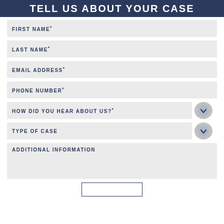TELL US ABOUT YOUR CASE
FIRST NAME*
LAST NAME*
EMAIL ADDRESS*
PHONE NUMBER*
HOW DID YOU HEAR ABOUT US?*
TYPE OF CASE
ADDITIONAL INFORMATION